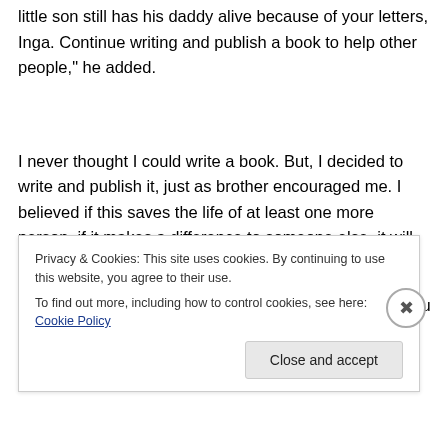little son still has his daddy alive because of your letters, Inga. Continue writing and publish a book to help other people," he added.
I never thought I could write a book. But, I decided to write and publish it, just as brother encouraged me. I believed if this saves the life of at least one more person, if it makes a difference to someone else, it will be all worth it. I did not have the editor nor did I have the money to publish it. But
Privacy & Cookies: This site uses cookies. By continuing to use this website, you agree to their use.
To find out more, including how to control cookies, see here: Cookie Policy